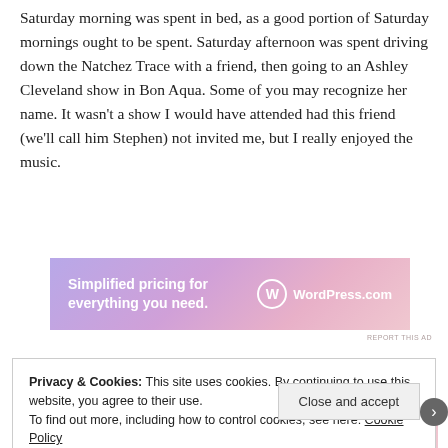Saturday morning was spent in bed, as a good portion of Saturday mornings ought to be spent. Saturday afternoon was spent driving down the Natchez Trace with a friend, then going to an Ashley Cleveland show in Bon Aqua. Some of you may recognize her name. It wasn't a show I would have attended had this friend (we'll call him Stephen) not invited me, but I really enjoyed the music.
[Figure (other): WordPress.com advertisement banner with purple/pink gradient background. Text reads 'Simplified pricing for everything you need.' with WordPress.com logo on right.]
REPORT THIS AD
Privacy & Cookies: This site uses cookies. By continuing to use this website, you agree to their use.
To find out more, including how to control cookies, see here: Cookie Policy
Close and accept
[Figure (other): Partial WordPress.com advertisement banner at bottom of page with purple/pink gradient, text partially visible 'we all have them!']